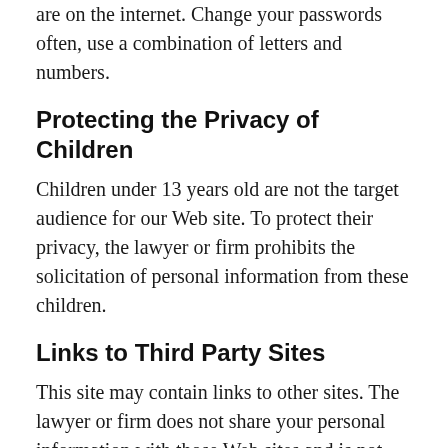are on the internet. Change your passwords often, use a combination of letters and numbers.
Protecting the Privacy of Children
Children under 13 years old are not the target audience for our Web site. To protect their privacy, the lawyer or firm prohibits the solicitation of personal information from these children.
Links to Third Party Sites
This site may contain links to other sites. The lawyer or firm does not share your personal information with those Web sites and is not responsible for their privacy practices. We encourage you to learn about the privacy policies of those companies.